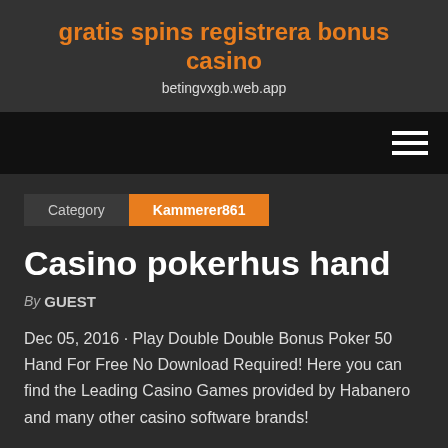gratis spins registrera bonus casino
betingvxgb.web.app
Category   Kammerer861
Casino pokerhus hand
By GUEST
Dec 05, 2016 · Play Double Double Bonus Poker 50 Hand For Free No Download Required! Here you can find the Leading Casino Games provided by Habanero and many other casino software brands!